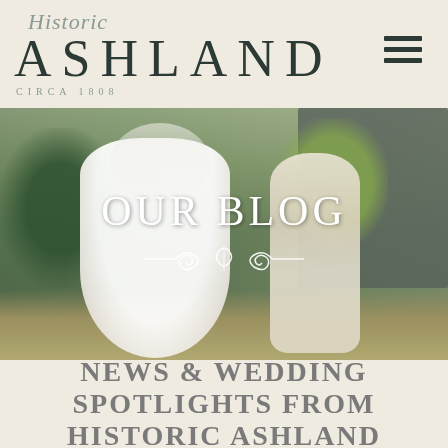Historic ASHLAND CIRCA 1808
[Figure (photo): Wedding photo of two brides walking outdoors near a historic building with greenery. Text overlay reads OUR BLOG with a decorative swirl beneath.]
NEWS & WEDDING SPOTLIGHTS FROM HISTORIC ASHLAND